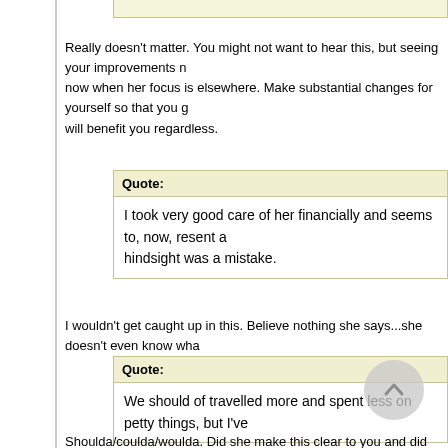Really doesn't matter. You might not want to hear this, but seeing your improvements now when her focus is elsewhere. Make substantial changes for yourself so that you get will benefit you regardless.
Quote:
I took very good care of her financially and seems to, now, resent a hindsight was a mistake.
I wouldn't get caught up in this. Believe nothing she says...she doesn't even know what
Quote:
We should of travelled more and spent less on petty things, but I've
Shoulda/coulda/woulda. Did she make this clear to you and did you simply ignore her? on XYZ and let's travel more? Perhaps that's a point of contention, but it's probably not like that and make new decisions together. So, again, if you were ignoring her on this w